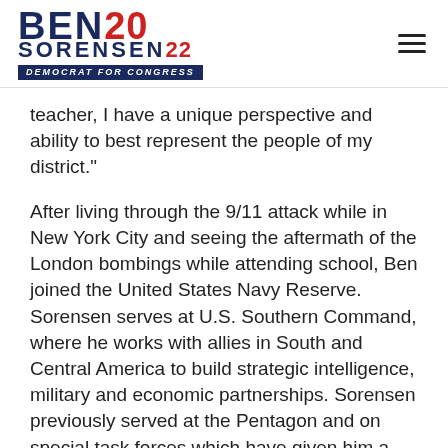[Figure (logo): Ben Sorensen 2022 Democrat for Congress campaign logo with blue and red text]
teacher, I have a unique perspective and ability to best represent the people of my district."
After living through the 9/11 attack while in New York City and seeing the aftermath of the London bombings while attending school, Ben joined the United States Navy Reserve. Sorensen serves at U.S. Southern Command, where he works with allies in South and Central America to build strategic intelligence, military and economic partnerships. Sorensen previously served at the Pentagon and on special task forces which have given him a deep understanding of the national security concerns